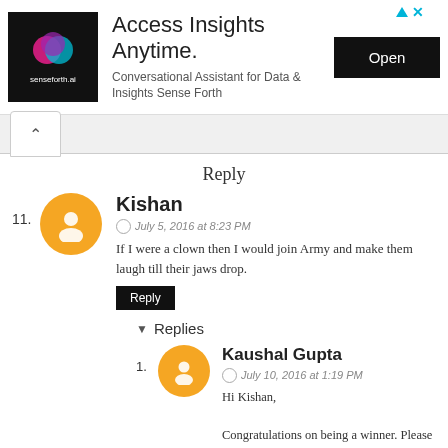[Figure (screenshot): Advertisement banner for senseforth.ai — Access Insights Anytime. Conversational Assistant for Data & Insights Sense Forth. Open button on right.]
Reply
11. Kishan
July 5, 2016 at 8:23 PM
If I were a clown then I would join Army and make them laugh till their jaws drop.
Reply
▾ Replies
1. Kaushal Gupta
July 10, 2016 at 1:19 PM
Hi Kishan,
Congratulations on being a winner. Please check your email and share the requested detail to send over the book to you.